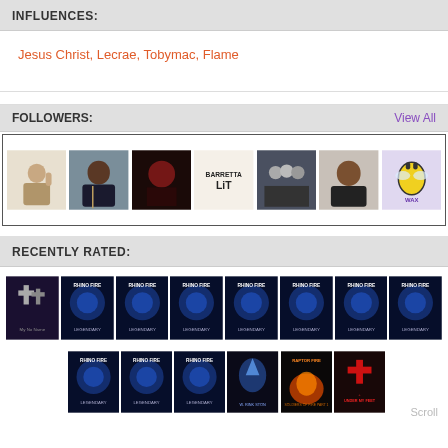INFLUENCES:
Jesus Christ, Lecrae, Tobymac, Flame
FOLLOWERS:
View All
[Figure (photo): Row of 7 follower profile thumbnails showing various people and avatars]
RECENTLY RATED:
[Figure (photo): Two rows of album cover thumbnails, mostly 'Rhino Fire - Legendary' blue covers, plus a few other album covers. Scroll text visible.]